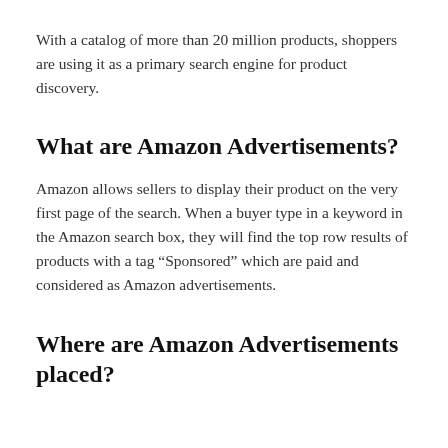With a catalog of more than 20 million products, shoppers are using it as a primary search engine for product discovery.
What are Amazon Advertisements?
Amazon allows sellers to display their product on the very first page of the search. When a buyer type in a keyword in the Amazon search box, they will find the top row results of products with a tag “Sponsored” which are paid and considered as Amazon advertisements.
Where are Amazon Advertisements placed?